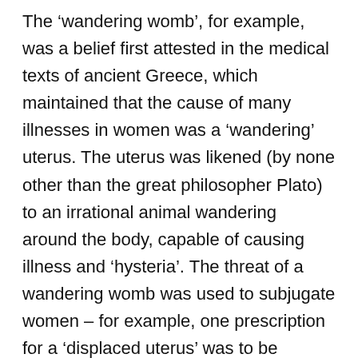The ‘wandering womb’, for example, was a belief first attested in the medical texts of ancient Greece, which maintained that the cause of many illnesses in women was a ‘wandering’ uterus. The uterus was likened (by none other than the great philosopher Plato) to an irrational animal wandering around the body, capable of causing illness and ‘hysteria’. The threat of a wandering womb was used to subjugate women – for example, one prescription for a ‘displaced uterus’ was to be pregnant as often as possible in order to keep the womb in its rightful place.
Though we’ve come a long way from wandering wombs, gender myths are still ingrained in medicine, and influence the care and diagnosis of